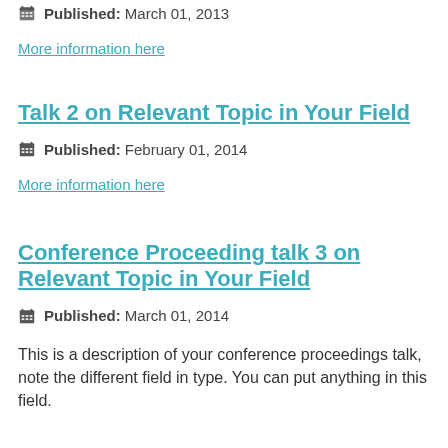Published: March 01, 2013
More information here
Talk 2 on Relevant Topic in Your Field
Published: February 01, 2014
More information here
Conference Proceeding talk 3 on Relevant Topic in Your Field
Published: March 01, 2014
This is a description of your conference proceedings talk, note the different field in type. You can put anything in this field.